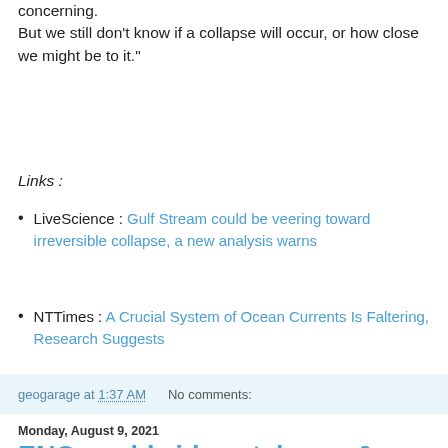concerning.
But we still don't know if a collapse will occur, or how close we might be to it."
Links :
LiveScience : Gulf Stream could be veering toward irreversible collapse, a new analysis warns
NTTimes : A Crucial System of Ocean Currents Is Faltering, Research Suggests
geogarage at 1:37 AM   No comments:
Monday, August 9, 2021
ENC worldwide catalogue & distributors
[Figure (photo): Globe/earth image with ocean current visualization overlaid in colorful lines on a dark background]